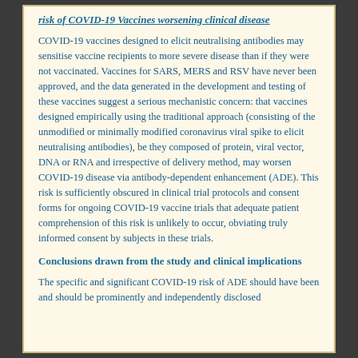risk of COVID-19 Vaccines worsening clinical disease
COVID-19 vaccines designed to elicit neutralising antibodies may sensitise vaccine recipients to more severe disease than if they were not vaccinated. Vaccines for SARS, MERS and RSV have never been approved, and the data generated in the development and testing of these vaccines suggest a serious mechanistic concern: that vaccines designed empirically using the traditional approach (consisting of the unmodified or minimally modified coronavirus viral spike to elicit neutralising antibodies), be they composed of protein, viral vector, DNA or RNA and irrespective of delivery method, may worsen COVID-19 disease via antibody-dependent enhancement (ADE). This risk is sufficiently obscured in clinical trial protocols and consent forms for ongoing COVID-19 vaccine trials that adequate patient comprehension of this risk is unlikely to occur, obviating truly informed consent by subjects in these trials.
Conclusions drawn from the study and clinical implications
The specific and significant COVID-19 risk of ADE should have been and should be prominently and independently disclosed to vaccine trial participants, in a clear and concise manner.